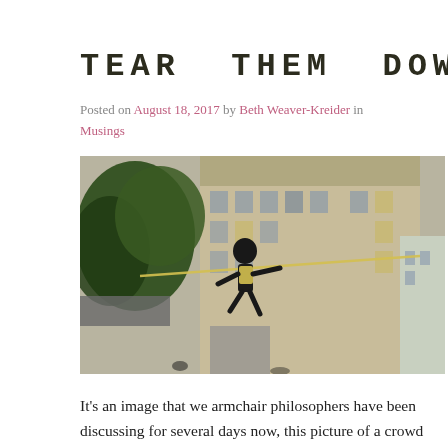TEAR THEM DOWN
Posted on August 18, 2017 by Beth Weaver-Kreider in Musings
[Figure (photo): Photo of a person in black clothing climbing or pulling on a rope attached to a statue, with a large historic building facade in the background and trees visible, during a Durham NC protest.]
It's an image that we armchair philosophers have been discussing for several days now, this picture of a crowd of anti-racism protesters in Durham NC